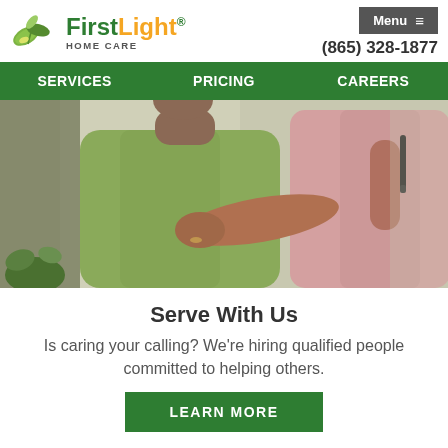FirstLight HOME CARE | Menu ≡ | (865) 328-1877
SERVICES | PRICING | CAREERS
[Figure (photo): A caregiver in a pink shirt supporting an elderly person in a green shirt from behind, with a hand on their back and holding a pen.]
Serve With Us
Is caring your calling? We're hiring qualified people committed to helping others.
LEARN MORE